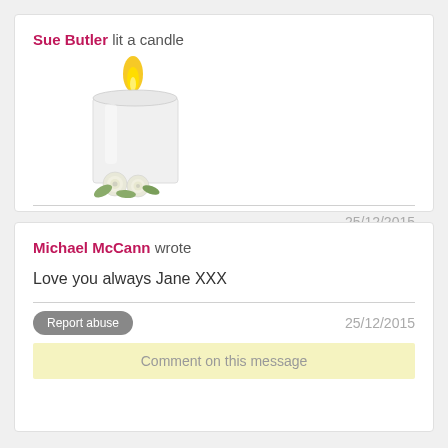Sue Butler lit a candle
[Figure (illustration): A white candle with a yellow flame and white roses at the base]
25/12/2015
Michael McCann wrote
Love you always Jane XXX
Report abuse
25/12/2015
Comment on this message